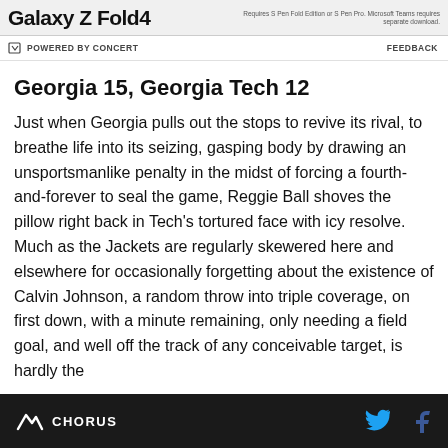[Figure (other): Samsung Galaxy Z Fold4 advertisement banner with text 'Galaxy Z Fold4' and fine print about Microsoft Teams]
POWERED BY CONCERT    FEEDBACK
Georgia 15, Georgia Tech 12
Just when Georgia pulls out the stops to revive its rival, to breathe life into its seizing, gasping body by drawing an unsportsmanlike penalty in the midst of forcing a fourth-and-forever to seal the game, Reggie Ball shoves the pillow right back in Tech's tortured face with icy resolve. Much as the Jackets are regularly skewered here and elsewhere for occasionally forgetting about the existence of Calvin Johnson, a random throw into triple coverage, on first down, with a minute remaining, only needing a field goal, and well off the track of any conceivable target, is hardly the
CHORUS